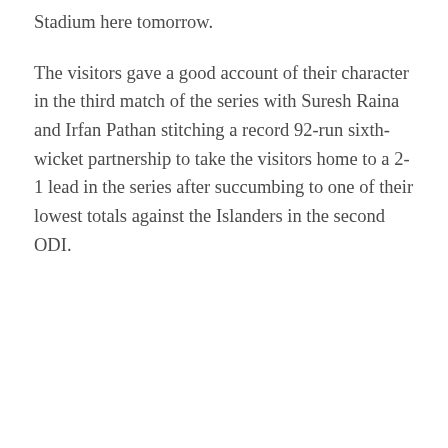Stadium here tomorrow.
The visitors gave a good account of their character in the third match of the series with Suresh Raina and Irfan Pathan stitching a record 92-run sixth-wicket partnership to take the visitors home to a 2-1 lead in the series after succumbing to one of their lowest totals against the Islanders in the second ODI.